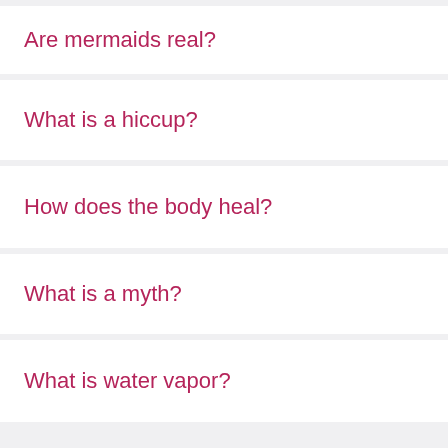Are mermaids real?
What is a hiccup?
How does the body heal?
What is a myth?
What is water vapor?